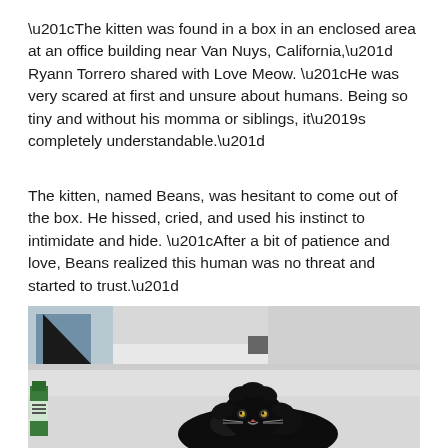“The kitten was found in a box in an enclosed area at an office building near Van Nuys, California,” Ryann Torrero shared with Love Meow. “He was very scared at first and unsure about humans. Being so tiny and without his momma or siblings, it’s completely understandable.”
The kitten, named Beans, was hesitant to come out of the box. He hissed, cried, and used his instinct to intimidate and hide. “After a bit of patience and love, Beans realized this human was no threat and started to trust.”
[Figure (photo): A black fluffy kitten peeking out from under a white surface (possibly a desk or shelf), looking at the camera with its mouth slightly open. In the background there are shelves with items including what appears to be a green bottle on the left side.]